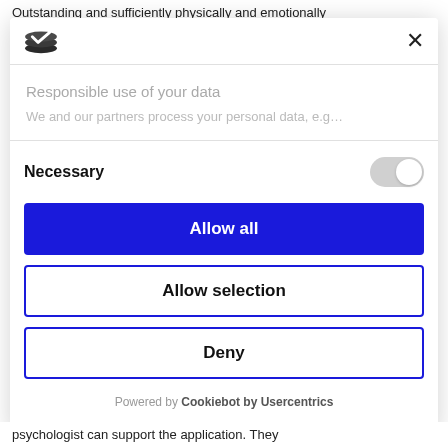Outstanding and sufficiently physically and emotionally
[Figure (screenshot): Cookie consent modal dialog with logo, close button, 'Responsible use of your data' section, Necessary toggle, Allow all button, Allow selection button, Deny button, and Powered by Cookiebot by Usercentrics footer]
psychologist can support the application. They